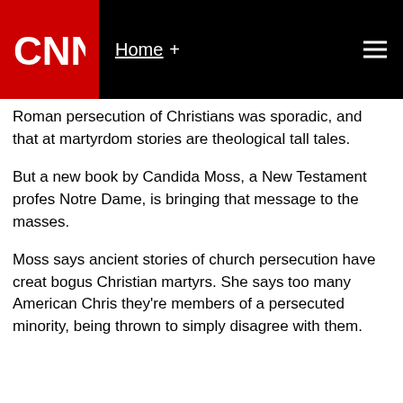CNN Home +
Roman persecution of Christians was sporadic, and that at martyrdom stories are theological tall tales.
But a new book by Candida Moss, a New Testament profes Notre Dame, is bringing that message to the masses.
Moss says ancient stories of church persecution have creat bogus Christian martyrs. She says too many American Chris they're members of a persecuted minority, being thrown to simply disagree with them.